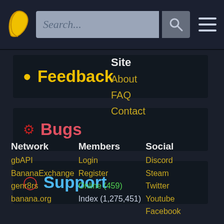Search... [search button] [menu button]
Feedback
Bugs
Support
Site
About
FAQ
Contact
Network
gbAPI
BananaExchange
genr8rs
banana.org
Members
Login
Register
Online (459)
Index (1,275,451)
Social
Discord
Steam
Twitter
Youtube
Facebook